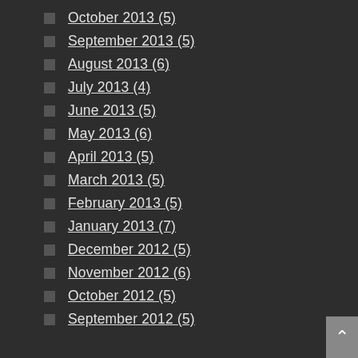October 2013 (5)
September 2013 (5)
August 2013 (6)
July 2013 (4)
June 2013 (5)
May 2013 (6)
April 2013 (5)
March 2013 (5)
February 2013 (5)
January 2013 (7)
December 2012 (5)
November 2012 (6)
October 2012 (5)
September 2012 (5)